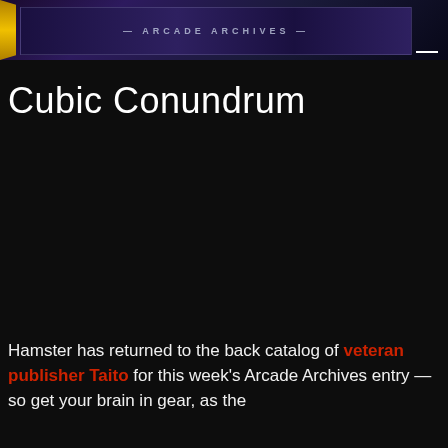[Figure (illustration): Banner image showing a dark purple/navy game artwork with geometric patterns and stylized text, with a yellow left stripe accent and a white dash in the corner.]
Cubic Conundrum
Hamster has returned to the back catalog of veteran publisher Taito for this week's Arcade Archives entry — so get your brain in gear, as the